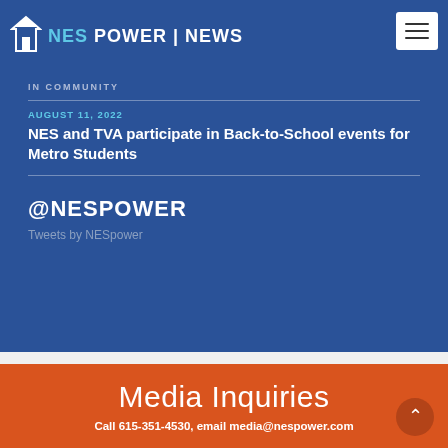NES POWER | NEWS
IN COMMUNITY
AUGUST 11, 2022
NES and TVA participate in Back-to-School events for Metro Students
@NESPOWER
Tweets by NESpower
Media Inquiries
Call 615-351-4530, email media@nespower.com